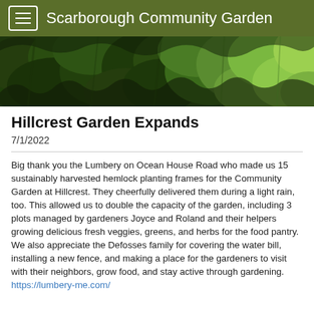Scarborough Community Garden
[Figure (photo): A wide banner photo showing lush green leafy vegetable plants growing in a garden, including large kale or cabbage leaves and other herbs, taken during daylight.]
Hillcrest Garden Expands
7/1/2022
Big thank you the Lumbery on Ocean House Road who made us 15 sustainably harvested hemlock planting frames for the Community Garden at Hillcrest. They cheerfully delivered them during a light rain, too. This allowed us to double the capacity of the garden, including 3 plots managed by gardeners Joyce and Roland and their helpers growing delicious fresh veggies, greens, and herbs for the food pantry. We also appreciate the Defosses family for covering the water bill, installing a new fence, and making a place for the gardeners to visit with their neighbors, grow food, and stay active through gardening. https://lumbery-me.com/